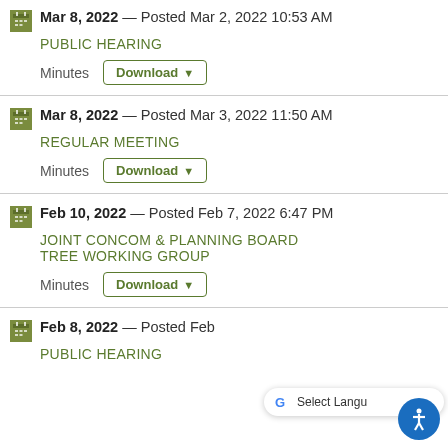Mar 8, 2022 — Posted Mar 2, 2022 10:53 AM
PUBLIC HEARING
Minutes Download
Mar 8, 2022 — Posted Mar 3, 2022 11:50 AM
REGULAR MEETING
Minutes Download
Feb 10, 2022 — Posted Feb 7, 2022 6:47 PM
JOINT CONCOM & PLANNING BOARD TREE WORKING GROUP
Minutes Download
Feb 8, 2022 — Posted Feb...
PUBLIC HEARING